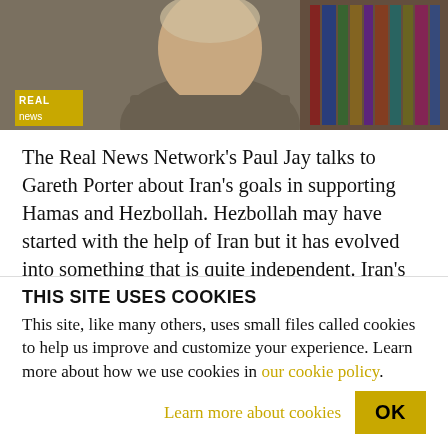[Figure (photo): A man in a jacket seated in front of bookshelves, with The Real News Network logo visible in the lower left corner of the photo.]
The Real News Network's Paul Jay talks to Gareth Porter about Iran's goals in supporting Hamas and Hezbollah. Hezbollah may have started with the help of Iran but it has evolved into something that is quite independent. Iran's position in relation to Hamas and Hezbollah is as “bargaining chips” in a negotiated settlement with the US to be recognized as a regional
THIS SITE USES COOKIES
This site, like many others, uses small files called cookies to help us improve and customize your experience. Learn more about how we use cookies in our cookie policy.
Learn more about cookies